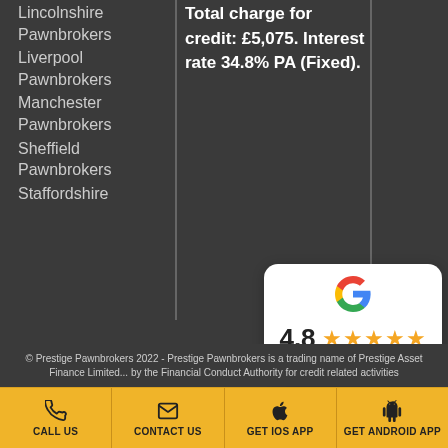Lincolnshire Pawnbrokers
Liverpool Pawnbrokers
Manchester Pawnbrokers
Sheffield Pawnbrokers
Staffordshire
Total charge for credit: £5,075. Interest rate 34.8% PA (Fixed).
[Figure (other): Google review card showing 4.8 star rating with 5 gold stars and link 'Read our 119 reviews']
© Prestige Pawnbrokers 2022 - Prestige Pawnbrokers is a trading name of Prestige Asset Finance Limited... by the Financial Conduct Authority for credit related activities
CALL US | CONTACT US | GET iOS APP | GET ANDROID APP